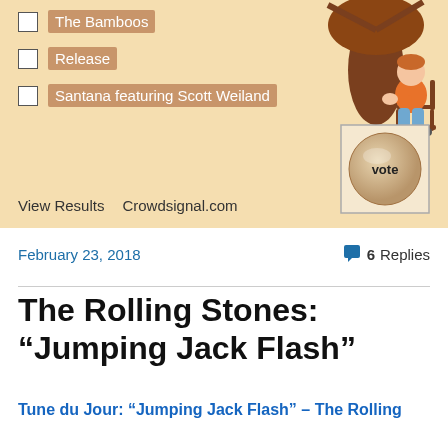[Figure (screenshot): Poll widget with beige background showing checkboxes for: The Bamboos (partially visible), Release, Santana featuring Scott Weiland. Includes an illustration of a person sitting at a desk, a 'vote' button (circular tan button in a square frame), and footer text 'View Results   Crowdsignal.com'.]
February 23, 2018
6 Replies
The Rolling Stones: “Jumping Jack Flash”
Tune du Jour: “Jumping Jack Flash” – The Rolling